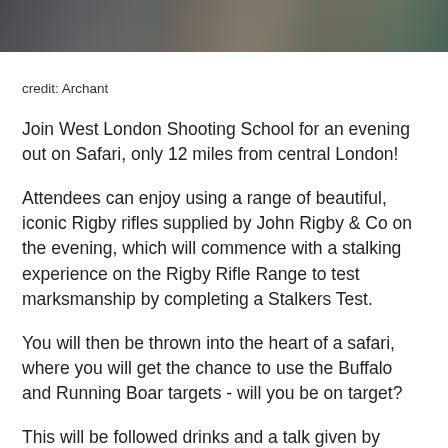[Figure (photo): Partial photo strip at top of page showing blurred outdoor/people scene]
credit: Archant
Join West London Shooting School for an evening out on Safari, only 12 miles from central London!
Attendees can enjoy using a range of beautiful, iconic Rigby rifles supplied by John Rigby & Co on the evening, which will commence with a stalking experience on the Rigby Rifle Range to test marksmanship by completing a Stalkers Test.
You will then be thrown into the heart of a safari, where you will get the chance to use the Buffalo and Running Boar targets - will you be on target?
This will be followed drinks and a talk given by Andrew